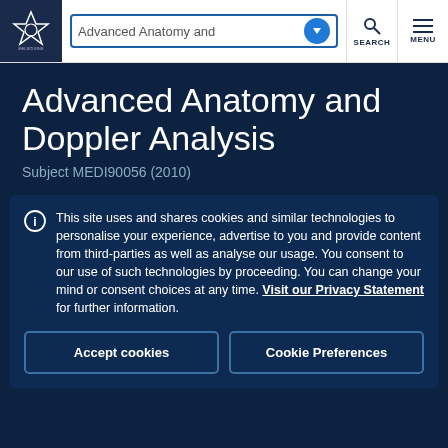Advanced Anatomy and [dropdown] SEARCH MENU
Advanced Anatomy and Doppler Analysis
Subject MEDI90056 (2010)
This site uses and shares cookies and similar technologies to personalise your experience, advertise to you and provide content from third-parties as well as analyse our usage. You consent to our use of such technologies by proceeding. You can change your mind or consent choices at any time. Visit our Privacy Statement for further information.
Accept cookies
Cookie Preferences